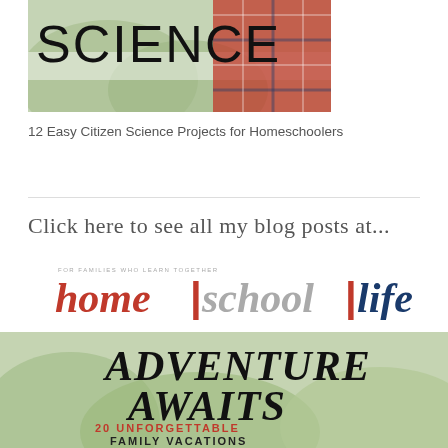[Figure (photo): Top image showing the word SCIENCE in large letters with a child in a plaid shirt in the background against greenery]
12 Easy Citizen Science Projects for Homeschoolers
Click here to see all my blog posts at...
[Figure (logo): home|school|life magazine logo with tagline FOR FAMILIES WHO LEARN TOGETHER]
[Figure (photo): Magazine cover showing ADVENTURE AWAITS with 20 UNFORGETTABLE FAMILY VACATIONS text over a nature background]